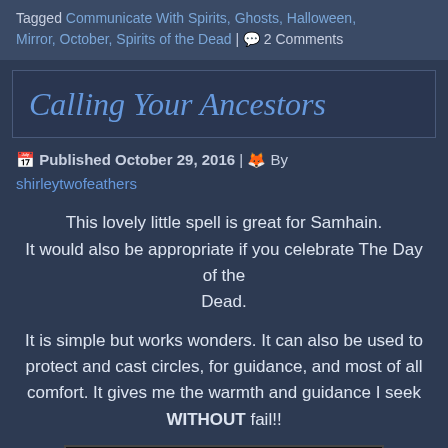Tagged Communicate With Spirits, Ghosts, Halloween, Mirror, October, Spirits of the Dead | 2 Comments
Calling Your Ancestors
Published October 29, 2016 | By shirleytwofeathers
This lovely little spell is great for Samhain. It would also be appropriate if you celebrate The Day of the Dead.
It is simple but works wonders. It can also be used to protect and cast circles, for guidance, and most of all comfort. It gives me the warmth and guidance I seek WITHOUT fail!!
[Figure (photo): Black and white photograph showing silhouettes of several people gathered together, appearing to be in a séance or group ritual setting]